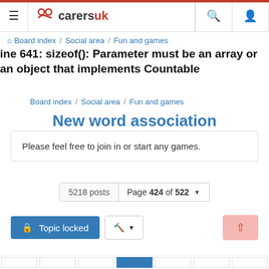CarersUK - Board index / Social area / Fun and games
line 641: sizeof(): Parameter must be an array or an object that implements Countable
Board index / Social area / Fun and games
New word association
Please feel free to join in or start any games.
5218 posts  Page 424 of 522
Topic locked